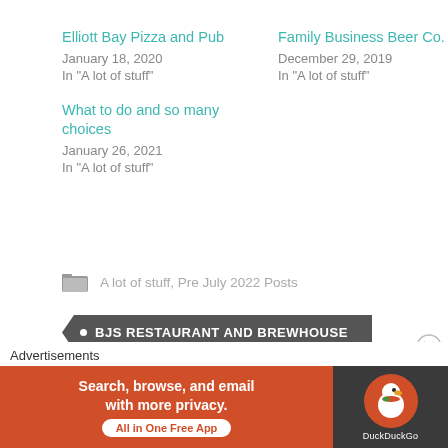Elliott Bay Pizza and Pub
January 18, 2020
In "A lot of stuff"
Family Business Beer Co.
December 29, 2019
In "A lot of stuff"
What to do and so many choices
January 26, 2021
In "A lot of stuff"
A lot of stuff, Pre July 2022 Posts
• BJS RESTAURANT AND BREWHOUSE
Advertisements
[Figure (screenshot): DuckDuckGo advertisement banner: orange section with text 'Search, browse, and email with more privacy. All in One Free App' and dark section with DuckDuckGo duck logo on orange circle background]